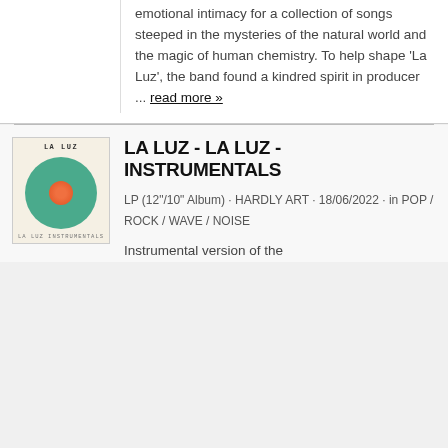emotional intimacy for a collection of songs steeped in the mysteries of the natural world and the magic of human chemistry. To help shape 'La Luz', the band found a kindred spirit in producer ... read more »
[Figure (illustration): Album cover thumbnail for La Luz - La Luz Instrumentals showing a teal/green circle with an orange/red inner circle on a cream background, with 'LA LUZ' text at top in monospace font]
LA LUZ - LA LUZ - INSTRUMENTALS
LP (12"/10" Album) · HARDLY ART · 18/06/2022 · in POP / ROCK / WAVE / NOISE
Instrumental version of the